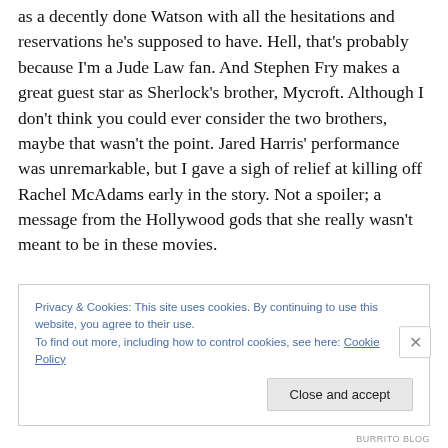as a decently done Watson with all the hesitations and reservations he's supposed to have. Hell, that's probably because I'm a Jude Law fan. And Stephen Fry makes a great guest star as Sherlock's brother, Mycroft. Although I don't think you could ever consider the two brothers, maybe that wasn't the point. Jared Harris' performance was unremarkable, but I gave a sigh of relief at killing off Rachel McAdams early in the story. Not a spoiler; a message from the Hollywood gods that she really wasn't meant to be in these movies.
Privacy & Cookies: This site uses cookies. By continuing to use this website, you agree to their use.
To find out more, including how to control cookies, see here: Cookie Policy
BURRITO BLOG